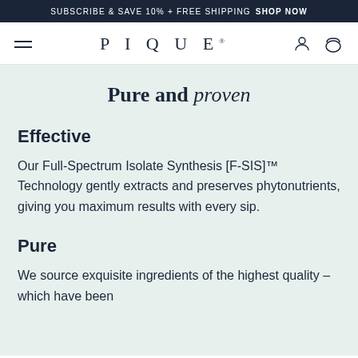SUBSCRIBE & SAVE 10% + FREE SHIPPING  SHOP NOW
PIQUE
Pure and proven
Effective
Our Full-Spectrum Isolate Synthesis [F-SIS]™ Technology gently extracts and preserves phytonutrients, giving you maximum results with every sip.
Pure
We source exquisite ingredients of the highest quality – which have been